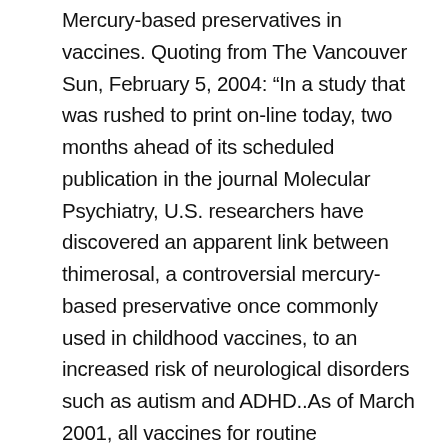Mercury-based preservatives in vaccines. Quoting from The Vancouver Sun, February 5, 2004: “In a study that was rushed to print on-line today, two months ahead of its scheduled publication in the journal Molecular Psychiatry, U.S. researchers have discovered an apparent link between thimerosal, a controversial mercury-based preservative once commonly used in childhood vaccines, to an increased risk of neurological disorders such as autism and ADHD..As of March 2001, all vaccines for routine immunization of children in Canada have been available without thimerosal. But the annual flu shot, which is given to children over six months of age – contains the preservative. And thimerosal is still found in larger, multi-dose vaccines shipped to Third World countries.”